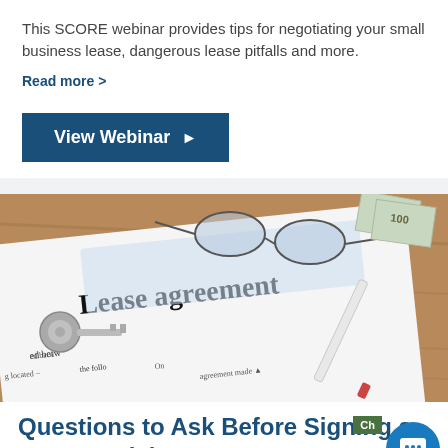This SCORE webinar provides tips for negotiating your small business lease, dangerous lease pitfalls and more.
Read more >
View Webinar ▶
[Figure (photo): Photo of a lease agreement document on a clipboard with keys, glasses, a pen, and money on a wooden desk]
Questions to Ask Before Signing a Commercial Lease